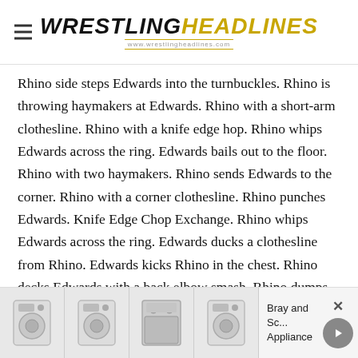WRESTLINGHEADLINES — www.wrestlingheadlines.com
Rhino side steps Edwards into the turnbuckles. Rhino is throwing haymakers at Edwards. Rhino with a short-arm clothesline. Rhino with a knife edge hop. Rhino whips Edwards across the ring. Edwards bails out to the floor. Rhino with two haymakers. Rhino sends Edwards to the corner. Rhino with a corner clothesline. Rhino punches Edwards. Knife Edge Chop Exchange. Rhino whips Edwards across the ring. Edwards ducks a clothesline from Rhino. Edwards kicks Rhino in the chest. Rhino decks Edwards with a back elbow smash. Rhino dumps
[Figure (screenshot): Advertisement bar showing appliance images and 'Bray and Scott Appliance' text]